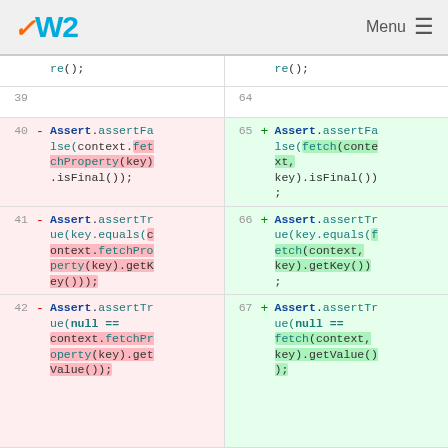OW2  Menu
[Figure (screenshot): Code diff view showing two columns: left (removed, pink background, line numbers 39-42) and right (added, green background, line numbers 64-67). Lines show Java Assert statements being refactored from context.fetchProperty(key) style to fetch(context, key) style.]